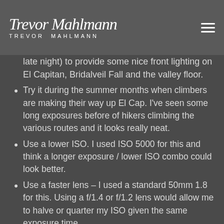Trevor Mahlmann
late night) to provide some nice front lighting on El Capitan, Bridalveil Fall and the valley floor.
Try it during the summer months when climbers are making their way up El Cap. I've seen some long exposures before of hikers climbing the various routes and it looks really neat.
Use a lower ISO. I used ISO 5000 for this and think a longer exposure / lower ISO combo could look better.
Use a faster lens – I used a standard 50mm 1.8 for this. Using a f/1.4 or f/1.2 lens would allow me to halve or quarter my ISO given the same exposure time.
Licensee Patrons: Here's a link to download the hi-res.